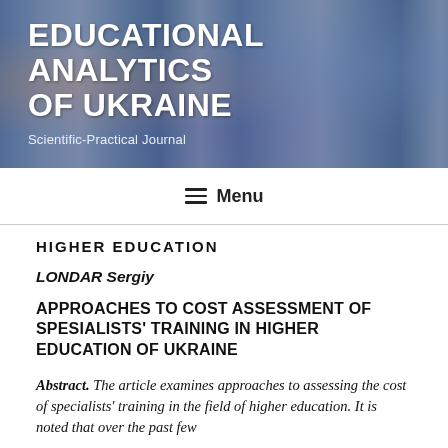[Figure (illustration): Banner header image for the Educational Analytics of Ukraine journal, showing a collage of educational scenes with a blue overlay.]
EDUCATIONAL ANALYTICS OF UKRAINE
Scientific-Practical Journal
Menu
HIGHER EDUCATION
LONDAR Sergiy
APPROACHES TO COST ASSESSMENT OF SPESIALISTS' TRAINING IN HIGHER EDUCATION OF UKRAINE
Abstract. The article examines approaches to assessing the cost of specialists' training in the field of higher education. It is noted that over the past few